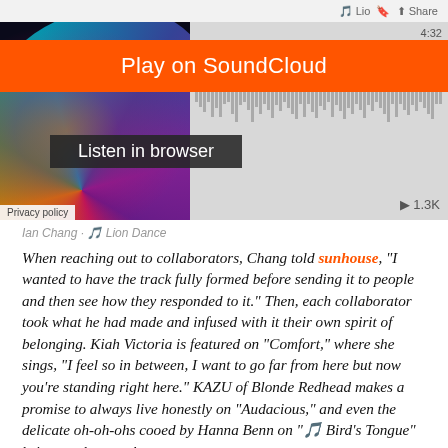[Figure (screenshot): SoundCloud embedded player widget showing 'Play on SoundCloud' orange button, 'Listen in browser' dark button, artwork with colorful abalone shell pattern, waveform, 4:32 duration, 1.3K plays, Privacy policy link, and Share button.]
Ian Chang · 🎵 Lion Dance
When reaching out to collaborators, Chang told sunhouse, "I wanted to have the track fully formed before sending it to people and then see how they responded to it." Then, each collaborator took what he had made and infused with it their own spirit of belonging. Kiah Victoria is featured on "Comfort," where she sings, "I feel so in between, I want to go far from here but now you're standing right here." KAZU of Blonde Redhead makes a promise to always live honestly on "Audacious," and even the delicate oh-oh-ohs cooed by Hanna Benn on "🎵 Bird's Tongue" bring us closer to her.
Regardless of your affection for the left-field, you will walk away